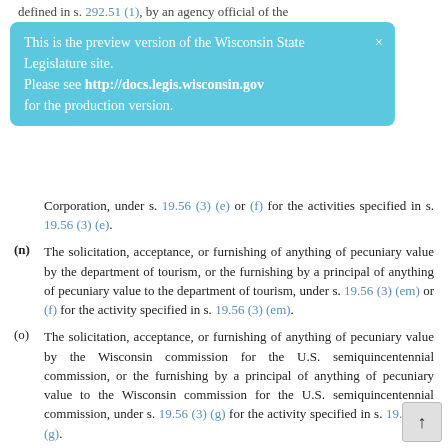defined in s. 292.51 (1), by an agency official of the
This is the preview version of the Wisconsin State Legislature site. Please see http://docs.legis.wisconsin.gov for the production version.
Corporation, under s. 19.56 (3) (e) or (f) for the activities specified in s. 19.56 (3) (e).
(n) The solicitation, acceptance, or furnishing of anything of pecuniary value by the department of tourism, or the furnishing by a principal of anything of pecuniary value to the department of tourism, under s. 19.56 (3) (em) or (f) for the activity specified in s. 19.56 (3) (em).
(o) The solicitation, acceptance, or furnishing of anything of pecuniary value by the Wisconsin commission for the U.S. semiquincentennial commission, or the furnishing by a principal of anything of pecuniary value to the Wisconsin commission for the U.S. semiquincentennial commission, under s. 19.56 (3) (g) for the activity specified in s. 19.56 (3) (g).
NOTE: Par. (o) is shown as renumbered from sub. (11) by the legislative reference bureau under s. 13.92 (1) (bm) 2. Capitalization was modified, unnecessary text was removed, and other text was modified under s. 35.17 to reflect the renumbering.